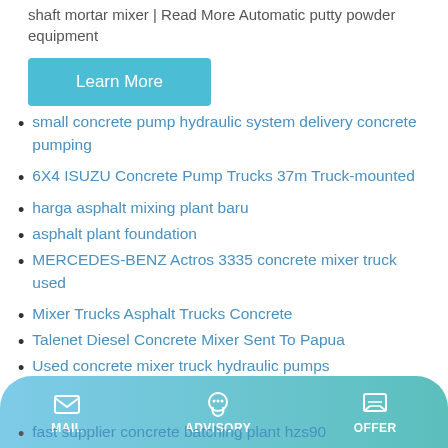shaft mortar mixer | Read More Automatic putty powder equipment
Learn More
small concrete pump hydraulic system delivery concrete pumping
6X4 ISUZU Concrete Pump Trucks 37m Truck-mounted
harga asphalt mixing plant baru
asphalt plant foundation
MERCEDES-BENZ Actros 3335 concrete mixer truck used
Mixer Trucks Asphalt Trucks Concrete
Talenet Diesel Concrete Mixer Sent To Papua
Used concrete mixer truck hydraulic pumps
Tokyo Cement WebLink Readymix Concerte Batching Plant
fast supplier concrete batching plant hzs90
MAIL   ADVISORY   OFFER